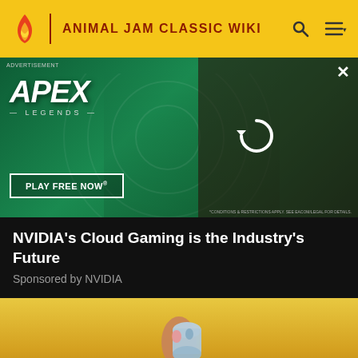ANIMAL JAM CLASSIC WIKI
[Figure (screenshot): Apex Legends advertisement banner with green background, character holding sniper rifle, PLAY FREE NOW button, and reload overlay on right side]
ADVERTISEMENT
NVIDIA's Cloud Gaming is the Industry's Future
Sponsored by NVIDIA
[Figure (screenshot): Animal Jam game screenshot showing a cartoon character with a grey/blue cylindrical item on a yellow background]